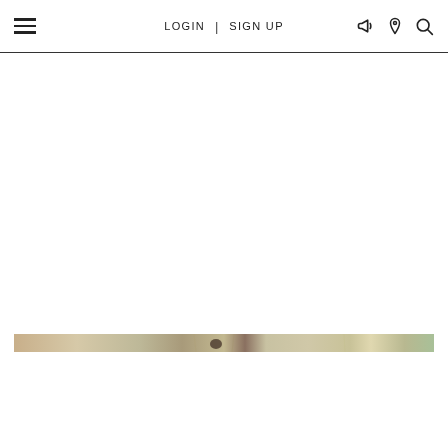LOGIN | SIGN UP
[Figure (photo): A narrow horizontal strip of a photo showing beige/tan tones, possibly a close-up of a natural or food subject]